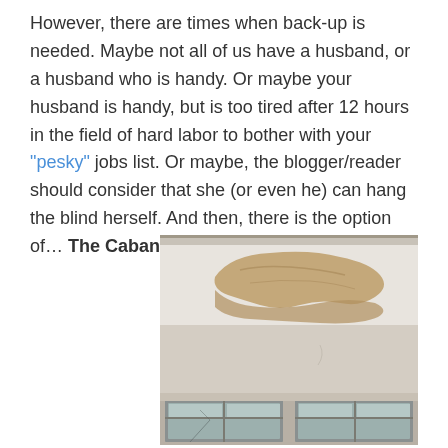However, there are times when back-up is needed. Maybe not all of us have a husband, or a husband who is handy. Or maybe your husband is handy, but is too tired after 12 hours in the field of hard labor to bother with your "pesky" jobs list. Or maybe, the blogger/reader should consider that she (or even he) can hang the blind herself. And then, there is the option of… The Cabana Boy.
[Figure (photo): Interior photo showing a damaged or peeling ceiling above a window, with visible cracks or detached plaster forming a large irregular shape near the ceiling. Two window panes are visible at the bottom of the image.]